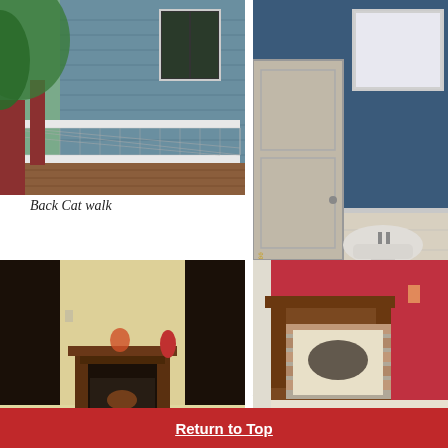[Figure (photo): Back cat walk / porch of a house with blue siding, white railing, and wooden deck floor]
Back Cat walk
[Figure (photo): Downstairs half bathroom with blue upper walls, white wainscoting, white pedestal sink, toilet, and medicine cabinet]
Downstairs Half Bath
[Figure (photo): Room with cream walls, dark fireplace with decorative mantel, flanked by two dark doorways]
[Figure (photo): Room with red walls, wooden fireplace mantel with brick hearth and decorative screen]
Return to Top